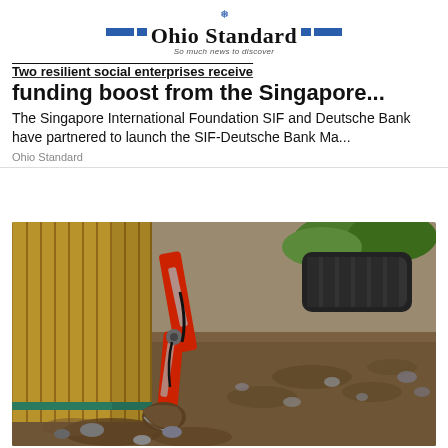Ohio Standard — So much news to discover
Two resilient social enterprises receive funding boost from the Singapore...
The Singapore International Foundation SIF and Deutsche Bank have partnered to launch the SIF-Deutsche Bank Ma...
Ohio Standard
[Figure (photo): Photograph of a red mini excavator digging next to a wooden fence, with loose soil and rocks in the foreground and excavator tracks visible in the background.]